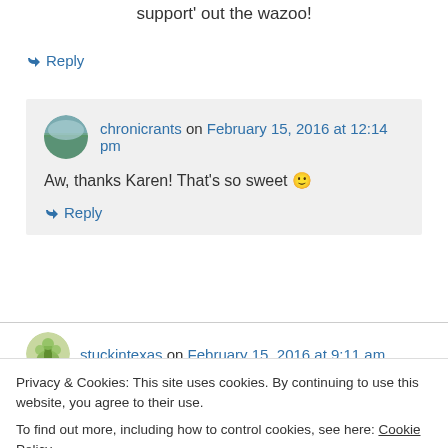support' out the wazoo!
↳ Reply
chronicrants on February 15, 2016 at 12:14 pm
Aw, thanks Karen! That's so sweet 🙂
↳ Reply
stuckintexas on February 15, 2016 at 9:11 am
Privacy & Cookies: This site uses cookies. By continuing to use this website, you agree to their use. To find out more, including how to control cookies, see here: Cookie Policy
Close and accept